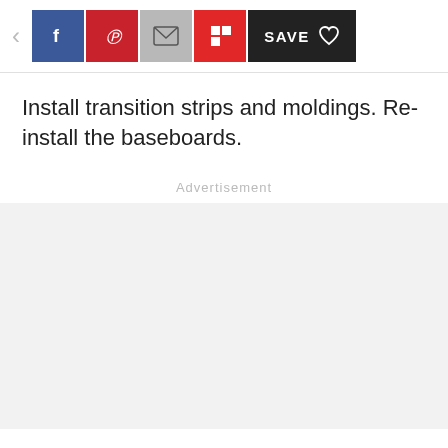[Figure (screenshot): Social sharing toolbar with back arrow, Facebook, Pinterest, Email, Flipboard, and Save buttons]
Install transition strips and moldings. Re-install the baseboards.
Advertisement
[Figure (other): Advertisement placeholder area with light gray background]